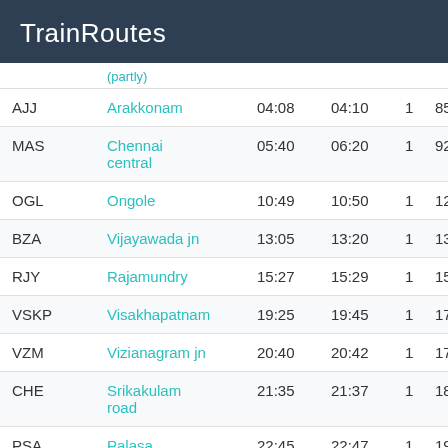TrainRoutes
|  | (partly) |  |  |  |  |
| --- | --- | --- | --- | --- | --- |
| AJJ | Arakkonam | 04:08 | 04:10 | 1 | 851 |
| MAS | Chennai central | 05:40 | 06:20 | 1 | 926 |
| OGL | Ongole | 10:49 | 10:50 | 1 | 121 |
| BZA | Vijayawada jn | 13:05 | 13:20 | 1 | 135 |
| RJY | Rajamundry | 15:27 | 15:29 | 1 | 150 |
| VSKP | Visakhapatnam | 19:25 | 19:45 | 1 | 170 |
| VZM | Vizianagram jn | 20:40 | 20:42 | 1 | 176 |
| CHE | Srikakulam road | 21:35 | 21:37 | 1 | 183 |
| PSA | Palasa | 22:45 | 22:47 | 1 | 190 |